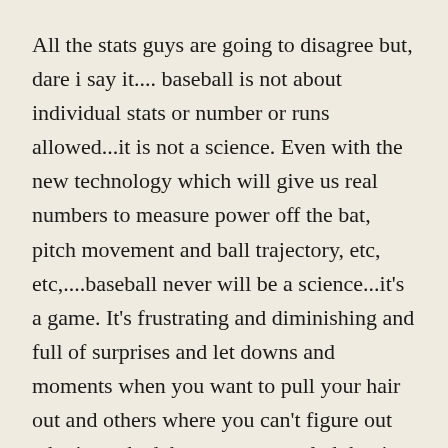All the stats guys are going to disagree but, dare i say it.... baseball is not about individual stats or number or runs allowed...it is not a science. Even with the new technology which will give us real numbers to measure power off the bat, pitch movement and ball trajectory, etc, etc,....baseball never will be a science...it's a game. It's frustrating and diminishing and full of surprises and let downs and moments when you want to pull your hair out and others where you can't figure out why it worked, but you are so glad that it did.
As for offense, we got one back the bottom of the first when BJ tripled and Andrelton singled him in. We eventually…